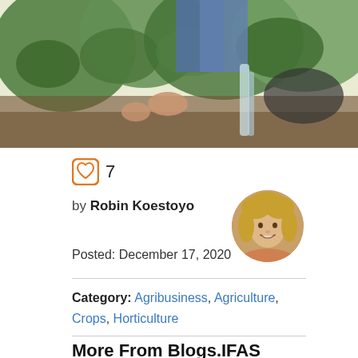[Figure (photo): Person working outdoors near a tree with a clear tube or equipment, wearing jeans, surrounded by green foliage]
7
by Robin Koestoyo
[Figure (photo): Circular profile photo of a smiling woman with blonde hair]
Posted: December 17, 2020
Category: Agribusiness, Agriculture, Crops, Horticulture
More From Blogs.IFAS